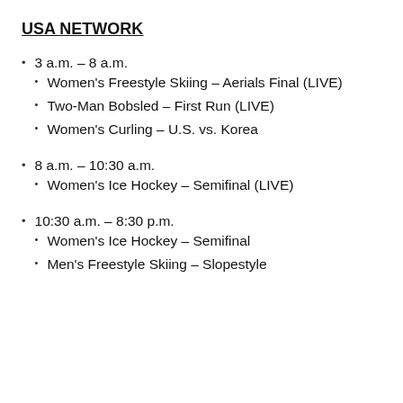USA NETWORK
3 a.m. – 8 a.m.
Women's Freestyle Skiing – Aerials Final (LIVE)
Two-Man Bobsled – First Run (LIVE)
Women's Curling – U.S. vs. Korea
8 a.m. – 10:30 a.m.
Women's Ice Hockey – Semifinal (LIVE)
10:30 a.m. – 8:30 p.m.
Women's Ice Hockey – Semifinal
Men's Freestyle Skiing – Slopestyle